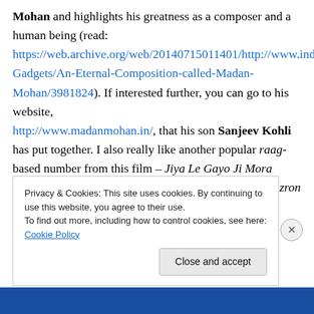Mohan and highlights his greatness as a composer and a human being (read: https://web.archive.org/web/20140715011401/http://www.indiainfoline.com/Lifestyle/Smart-Gadgets/An-Eternal-Composition-called-Madan-Mohan/3981824). If interested further, you can go to his website, http://www.madanmohan.in/, that his son Sanjeev Kohli has put together. I also really like another popular raag-based number from this film – Jiya Le Gayo Ji Mora Sanwariya also sung by Lata Mangeshkar. Aap ki nazron is an evergreen number has superb mass appeal and is
Privacy & Cookies: This site uses cookies. By continuing to use this website, you agree to their use. To find out more, including how to control cookies, see here: Cookie Policy
Close and accept